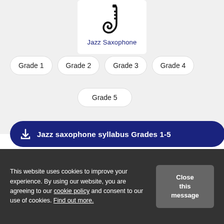[Figure (illustration): Black silhouette icon of a jazz saxophone]
Jazz Saxophone
Grade 1
Grade 2
Grade 3
Grade 4
Grade 5
Jazz saxophone syllabus Grades 1-5
This website uses cookies to improve your experience. By using our website, you are agreeing to our cookie policy and consent to our use of cookies. Find out more.
Close this message